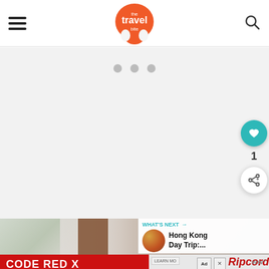The Travel Bite - navigation header with hamburger menu, logo, and search icon
[Figure (screenshot): Light gray content area with three gray dots (loading indicators) near the top center]
[Figure (infographic): Teal circular heart/like button with white heart icon, showing count of 1, and a share button below]
[Figure (photo): Blurred hotel lobby or interior photo showing greenery and a brown door]
[Figure (screenshot): What's Next sidebar showing a thumbnail image and text: Hong Kong Day Trip:...]
[Figure (photo): Advertisement banner: CODE RED X with Ripcord Arrow Rest branding on red background, with LEARN MORE and close buttons]